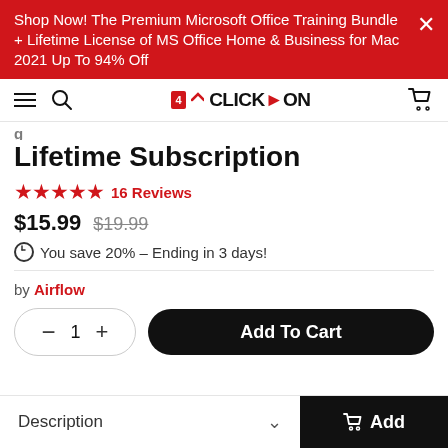Shop Now! The Premium Microsoft Office Training Bundle + Lifetime License of MS Office Home & Business for Mac 2021 Up To 94% Off
ClickOn
Lifetime Subscription
★★★★★ 16 Reviews
$15.99  $19.99
You save 20% – Ending in 3 days!
by Airflow
Add To Cart
Description